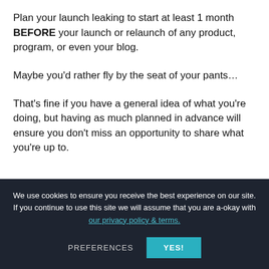Plan your launch leaking to start at least 1 month BEFORE your launch or relaunch of any product, program, or even your blog.
Maybe you'd rather fly by the seat of your pants...
That's fine if you have a general idea of what you're doing, but having as much planned in advance will ensure you don't miss an opportunity to share what you're up to.
We use cookies to ensure you receive the best experience on our site. If you continue to use this site we will assume that you are a-okay with our privacy policy & terms.